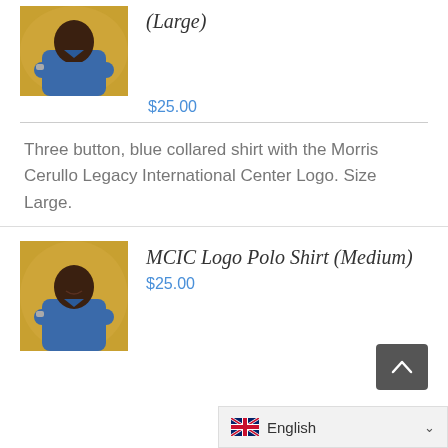[Figure (photo): Man in blue polo shirt with arms crossed, gold/warm background]
(Large)
$25.00
Three button, blue collared shirt with the Morris Cerullo Legacy International Center Logo. Size Large.
[Figure (photo): Man in blue polo shirt with arms crossed, gold/warm background]
MCIC Logo Polo Shirt (Medium)
$25.00